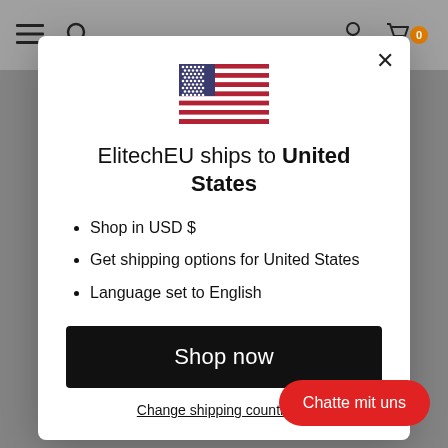[Figure (screenshot): Website navigation bar with hamburger menu, search icon, user icon, and cart icon with badge showing 0]
[Figure (illustration): US flag emoji/image centered in modal]
ElitechEU ships to United States
Shop in USD $
Get shipping options for United States
Language set to English
Shop now
Change shipping country an
Chatte mit uns